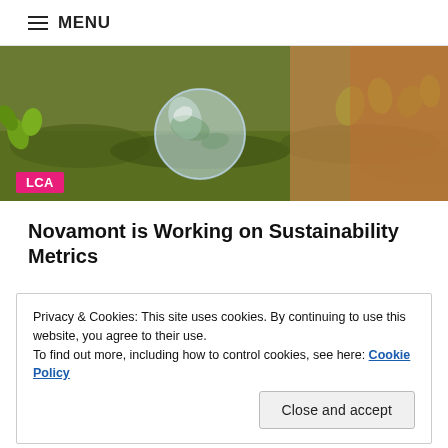≡ MENU
[Figure (photo): Hero photo of a glass globe on green moss with plants, nature/sustainability imagery. Pink LCA badge in lower left.]
Novamont is Working on Sustainability Metrics
Privacy & Cookies: This site uses cookies. By continuing to use this website, you agree to their use.
To find out more, including how to control cookies, see here: Cookie Policy
Close and accept
[Figure (photo): Bottom partial photo showing autumnal/earthy tones, orange and brown natural background.]